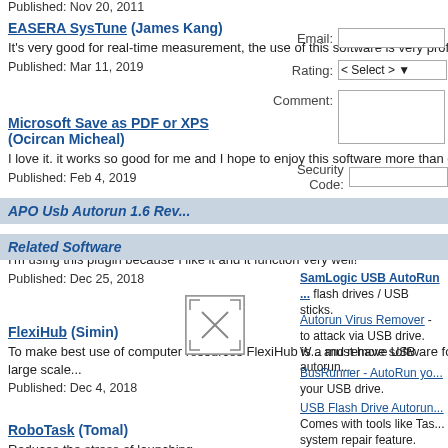Published: Nov 20, 2011
EASERA SysTune (James Kang)
It's very good for real-time measurement, the use of this software is very professional.
Published: Mar 11, 2019
Microsoft Save as PDF or XPS (Ocircan Micheal)
I love it. it works so good for me and I hope to enjoy this software more than ecer
Published: Feb 4, 2019
Color Pilot Plugin (Soren Christensen)
I'm using this plugin because I like it and it function very well!
Published: Dec 25, 2018
FlexiHub (Simin)
To make best use of computer resources FlexiHub is a must have software for mid to large scale...
Published: Dec 4, 2018
RoboTask (Tomal)
Reduces the stress of launching...
Email:
Rating: < Select >
Comment:
Security Code:
APO Usb Autorun 1.6 Rev...
Related Software
SamLogic USB AutoRun ... flash drives / USB sticks.
Autorun Virus Remover - to attack via USB drive. W... and remove USB autorun...
BusRunner - AutoRun yo... your USB drive.
USB Flash Drive Autorun... Comes with tools like Tas... system repair feature.